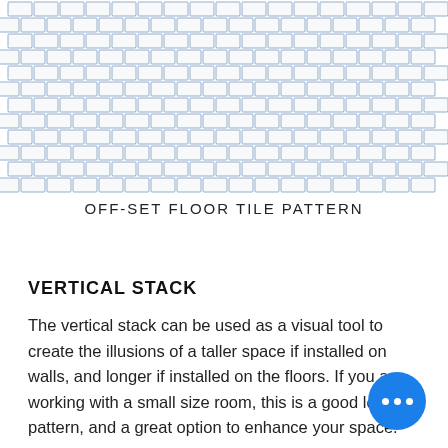[Figure (illustration): Offset brick/tile pattern diagram showing rows of rectangular tiles in a staggered offset arrangement, rendered as a grid of small rectangles with blue-grey outlines on white background.]
OFF-SET FLOOR TILE PATTERN
VERTICAL STACK
The vertical stack can be used as a visual tool to create the illusions of a taller space if installed on walls, and longer if installed on the floors. If you are working with a small size room, this is a good looking pattern, and a great option to enhance your space.